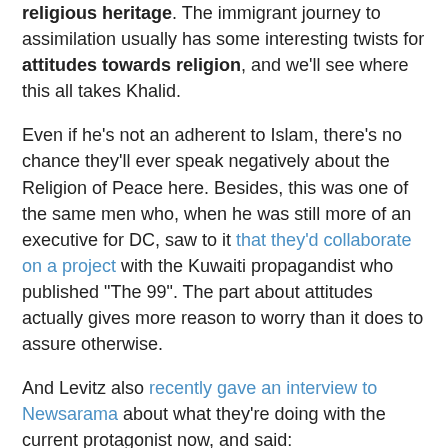religious heritage. The immigrant journey to assimilation usually has some interesting twists for attitudes towards religion, and we'll see where this all takes Khalid.
Even if he's not an adherent to Islam, there's no chance they'll ever speak negatively about the Religion of Peace here. Besides, this was one of the same men who, when he was still more of an executive for DC, saw to it that they'd collaborate on a project with the Kuwaiti propagandist who published "The 99". The part about attitudes actually gives more reason to worry than it does to assure otherwise.
And Levitz also recently gave an interview to Newsarama about what they're doing with the current protagonist now, and said:
Nrama: Anything else you want to tell readers about what's coming up in Doctor Fate?
Levitz: Much more, I hope, including some world politics, a bit of perspective on religion (how exactly does a self-proclaimed but obviously